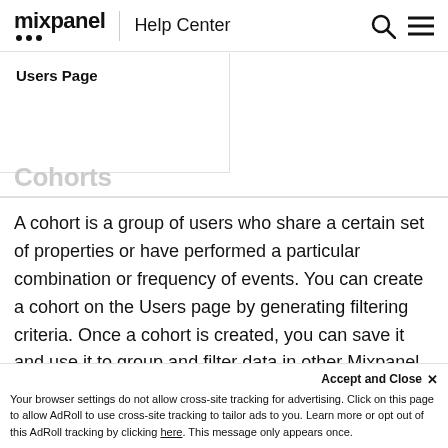mixpanel | Help Center
Users Page
Cohorts
A cohort is a group of users who share a certain set of properties or have performed a particular combination or frequency of events. You can create a cohort on the Users page by generating filtering criteria. Once a cohort is created, you can save it and use it to group and filter data in other Mixpanel reports.
Accept and Close ×
Your browser settings do not allow cross-site tracking for advertising. Click on this page to allow AdRoll to use cross-site tracking to tailor ads to you. Learn more or opt out of this AdRoll tracking by clicking here. This message only appears once.